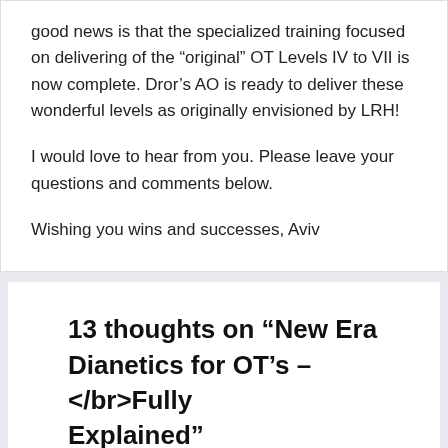good news is that the specialized training focused on delivering of the “original” OT Levels IV to VII is now complete. Dror’s AO is ready to deliver these wonderful levels as originally envisioned by LRH!
I would love to hear from you. Please leave your questions and comments below.
Wishing you wins and successes, Aviv
13 thoughts on “New Era Dianetics for OT’s – </br>Fully Explained”